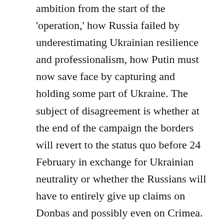ambition from the start of the 'operation,' how Russia failed by underestimating Ukrainian resilience and professionalism, how Putin must now save face by capturing and holding some part of Ukraine. The subject of disagreement is whether at the end of the campaign the borders will revert to the status quo before 24 February in exchange for Ukrainian neutrality or whether the Russians will have to entirely give up claims on Donbas and possibly even on Crimea.
As for commentators in the European Union, there is exaggerated outrage over alleged Russian aggression, over any possible revision of European borders as enshrined in the Helsinki Act of 1975 and subsequent recommitments by all parties to territorial inviolability of the signatory States. There is the stench of hypocrisy